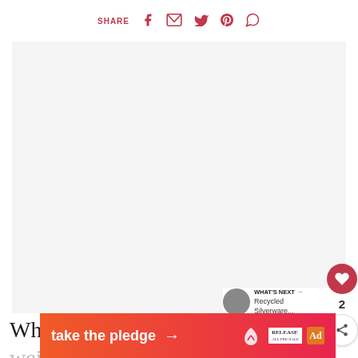SHARE
[Figure (photo): Large image placeholder area with light gray background]
2
WHAT'S NEXT → Recycled Silverware...
Whatever you use it needs to hold the weight of a full barrel. For example, a 50-gallon barrel will we...
[Figure (infographic): Take the pledge advertisement banner with orange-pink gradient, Release logo, and ad marker]